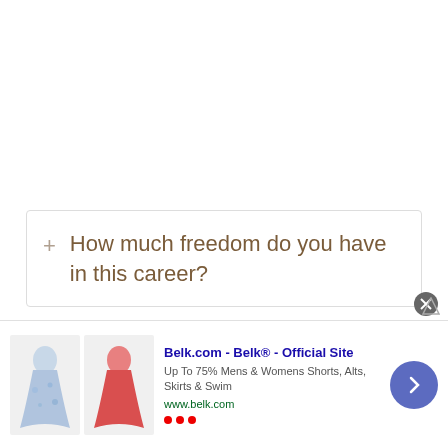+ How much freedom do you have in this career?
+ How important is it to work with others
[Figure (other): Ad banner for Belk.com showing clothing images (skirts/shorts), headline 'Belk.com - Belk® - Official Site', subtext 'Up To 75% Mens & Womens Shorts, Alts, Skirts & Swim', URL 'www.belk.com', with a close button and navigation arrow]